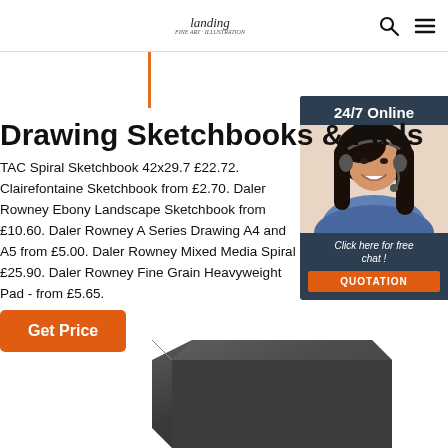landing — 24/7 Online (header navigation)
Drawing Sketchbooks & Pads
TAC Spiral Sketchbook 42x29.7 £22.72. Clairefontaine Sketchbook from £2.70. Daler Rowney Ebony Landscape Sketchbook from £10.60. Daler Rowney A Series Drawing A4 and A5 from £5.00. Daler Rowney Mixed Media Spiral £25.90. Daler Rowney Fine Grain Heavyweight Pad - from £5.65.
[Figure (photo): Customer service representative woman with headset smiling, 24/7 Online chat widget with 'Click here for free chat!' and QUOTATION button]
Get Price
[Figure (photo): Dark grey/charcoal sketchbook product photo, partially visible at bottom of page]